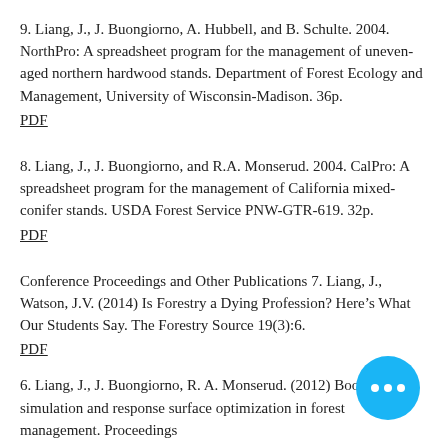9. Liang, J., J. Buongiorno, A. Hubbell, and B. Schulte. 2004. NorthPro: A spreadsheet program for the management of uneven-aged northern hardwood stands. Department of Forest Ecology and Management, University of Wisconsin-Madison. 36p.
PDF
8. Liang, J., J. Buongiorno, and R.A. Monserud. 2004. CalPro: A spreadsheet program for the management of California mixed-conifer stands. USDA Forest Service PNW-GTR-619. 32p.
PDF
Conference Proceedings and Other Publications
7. Liang, J., Watson, J.V. (2014) Is Forestry a Dying Profession? Here's What Our Students Say. The Forestry Source 19(3):6.
PDF
6. Liang, J., J. Buongiorno, R. A. Monserud. (2012) Bootstrap simulation and response surface optimization in forest management. Proceedings